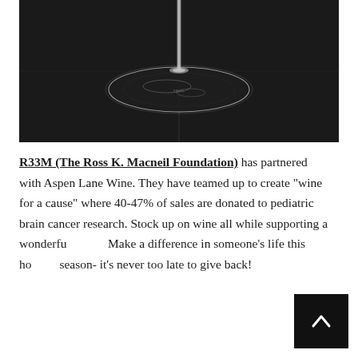[Figure (photo): Close-up photograph of the base of a wine glass on a dark black background, showing the circular base with reflections and the stem of the glass rising vertically.]
R33M (The Ross K. Macneil Foundation) has partnered with Aspen Lane Wine. They have teamed up to create “wine for a cause” where 40-47% of sales are donated to pediatric brain cancer research. Stock up on wine all while supporting a wonderful cause! Make a difference in someone’s life this holiday season- it’s never too late to give back!